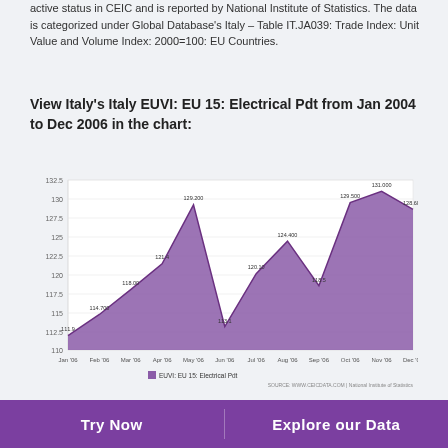active status in CEIC and is reported by National Institute of Statistics. The data is categorized under Global Database's Italy – Table IT.JA039: Trade Index: Unit Value and Volume Index: 2000=100: EU Countries.
View Italy's Italy EUVI: EU 15: Electrical Pdt from Jan 2004 to Dec 2006 in the chart:
[Figure (area-chart): EUVI: EU 15: Electrical Pdt]
What was Italy's Italy EUVI: EU 15: Electrical Pdt in Dec
Try Now    Explore our Data